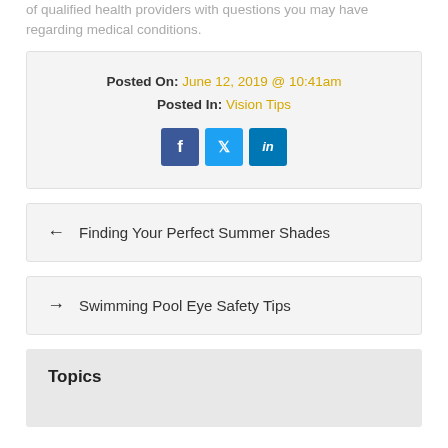of qualified health providers with questions you may have regarding medical conditions.
Posted On: June 12, 2019 @ 10:41am
Posted In: Vision Tips
← Finding Your Perfect Summer Shades
→ Swimming Pool Eye Safety Tips
Topics